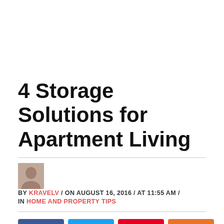4 Storage Solutions for Apartment Living
BY KRAVELV / ON AUGUST 16, 2016 / AT 11:55 AM / IN HOME AND PROPERTY TIPS